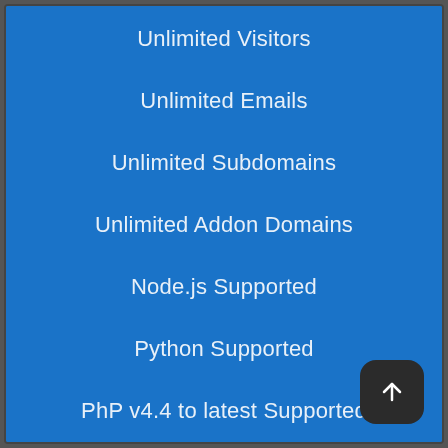Unlimited Visitors
Unlimited Emails
Unlimited Subdomains
Unlimited Addon Domains
Node.js Supported
Python Supported
PhP v4.4 to latest Supported
Unlimited MySQL Databases